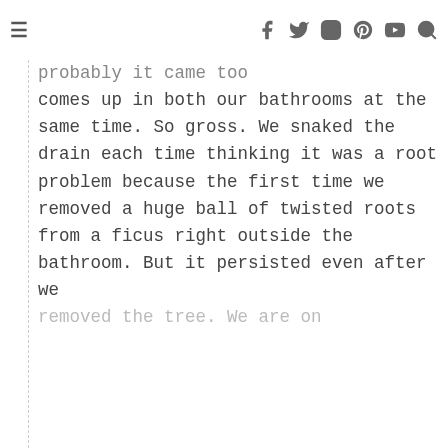≡   f  t  ⊙  ℗  ▶  🔍
probably it came too comes up in both our bathrooms at the same time. So gross. We snaked the drain each time thinking it was a root problem because the first time we removed a huge ball of twisted roots from a ficus right outside the bathroom. But it persisted even after we removed the tree. We are on